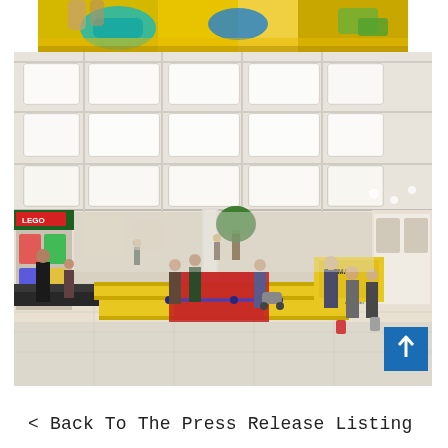[Figure (photo): Top strip photo showing colorful children's toys (yellow, blue, teal colors) close-up, partially cropped.]
[Figure (photo): Interior of a large shopping mall with high white ceiling featuring recessed square panel lights, retail stores on the sides, people walking and browsing, a LEGO Batman promotional display with yellow tables and red carpet roped off area in the center.]
< Back To The Press Release Listing